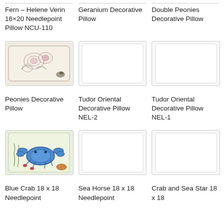Fern – Helene Verin 16×20 Needlepoint Pillow NCU-110
Geranium Decorative Pillow
Double Peonies Decorative Pillow
[Figure (photo): Peonies decorative pillow with floral needlepoint design on cream background]
[Figure (photo): Tudor Oriental Decorative Pillow (blank/white placeholder)]
[Figure (photo): Tudor Oriental Decorative Pillow (blank/white placeholder)]
Peonies Decorative Pillow
Tudor Oriental Decorative Pillow NEL-2
Tudor Oriental Decorative Pillow NEL-1
[Figure (photo): Blue Crab 18 x 18 Needlepoint pillow with blue crab on cream/green background]
[Figure (photo): Sea Horse 18 x 18 Needlepoint pillow (blank/white placeholder)]
[Figure (photo): Crab and Sea Star 18 x 18 pillow (blank/white placeholder)]
Blue Crab 18 x 18 Needlepoint
Sea Horse 18 x 18 Needlepoint
Crab and Sea Star 18 x 18